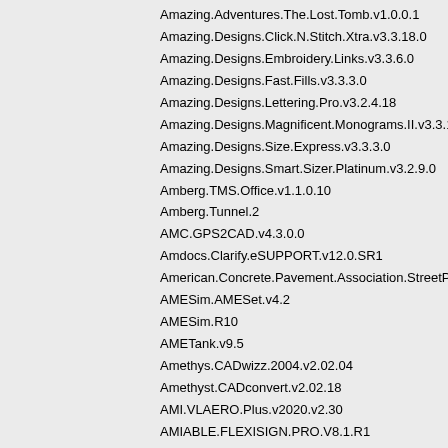Amazing.Adventures.The.Lost.Tomb.v1.0.0.1
Amazing.Designs.Click.N.Stitch.Xtra.v3.3.18.0
Amazing.Designs.Embroidery.Links.v3.3.6.0
Amazing.Designs.Fast.Fills.v3.3.3.0
Amazing.Designs.Lettering.Pro.v3.2.4.18
Amazing.Designs.Magnificent.Monograms.II.v3.3.10.1
Amazing.Designs.Size.Express.v3.3.3.0
Amazing.Designs.Smart.Sizer.Platinum.v3.2.9.0
Amberg.TMS.Office.v1.1.0.10
Amberg.Tunnel.2
AMC.GPS2CAD.v4.3.0.0
Amdocs.Clarify.eSUPPORT.v12.0.SR1
American.Concrete.Pavement.Association.StreetPave.1
AMESim.AMESet.v4.2
AMESim.R10
AMETank.v9.5
Amethys.CADwizz.2004.v2.02.04
Amethyst.CADconvert.v2.02.18
AMI.VLAERO.Plus.v2020.v2.30
AMIABLE.FLEXISIGN.PRO.V8.1.R1
AMIQ.DVT.Eclipse.IDE.16.1.20
Amoeba.Technologies.AMOEBA.2020.build.0322020
Amoebatech.Amoeba.2020.Build.0322020
Ampac.v8.16.7.Linux32.64
Amphora.Wine.Log.v6.09